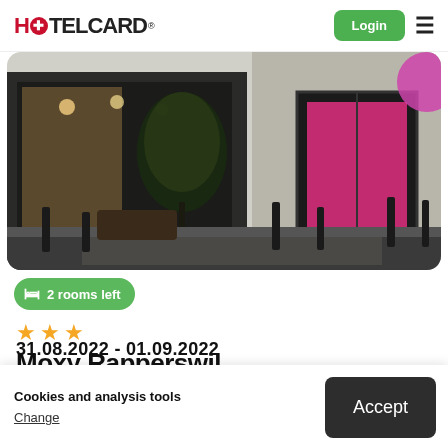HOTELCARD
[Figure (photo): Exterior photo of Moxy Rapperswil hotel building at night, showing glass facade with warm interior lighting, trees, and bollards on a cobblestone plaza]
2 rooms left
★★★
Moxy Rapperswil
Rapperswil, Switzerland
Cookies and analysis tools
Change
Accept
31.08.2022 - 01.09.2022